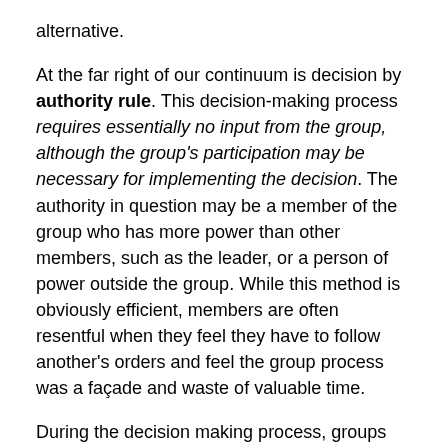alternative.
At the far right of our continuum is decision by authority rule. This decision-making process requires essentially no input from the group, although the group's participation may be necessary for implementing the decision. The authority in question may be a member of the group who has more power than other members, such as the leader, or a person of power outside the group. While this method is obviously efficient, members are often resentful when they feel they have to follow another's orders and feel the group process was a façade and waste of valuable time.
During the decision making process, groups must be careful not to fall victim to groupthink. Groupthink happens when a group is so focused on agreement and consensus that they do not examine all of the potential solutions available to them. Obviously, this can lead to